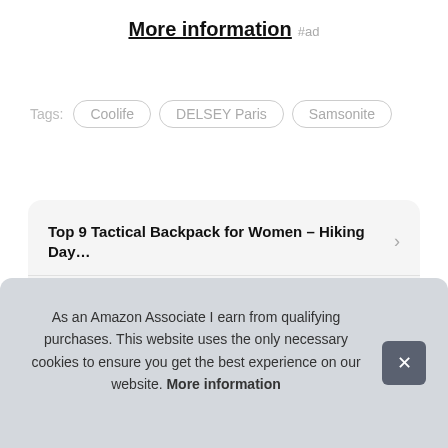More information #ad
Tags: Coolife  DELSEY Paris  Samsonite
Top 9 Tactical Backpack for Women – Hiking Day...
Top 10 Self Driving Suitcase – Suitcases
As an Amazon Associate I earn from qualifying purchases. This website uses the only necessary cookies to ensure you get the best experience on our website. More information